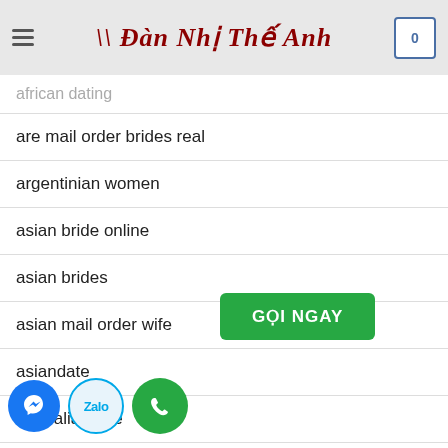Đàn Nhị Thế Anh
african dating
are mail order brides real
argentinian women
asian bride online
asian brides
asian mail order wife
asiandate
australia bride
australian mobile casinos
australian online casino no deposit bonus